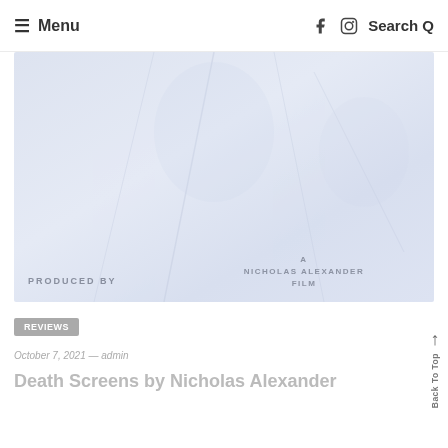≡ Menu   Facebook  Instagram  Search Q
[Figure (photo): Faded/washed-out film production still showing figures with text overlays: 'PRODUCED BY' at bottom-left and 'A NICHOLAS ALEXANDER FILM' at bottom-right, in a very light blue-grey tone]
Reviews
October 7, 2021 — admin
Death Screens by Nicholas Alexander
Back To Top